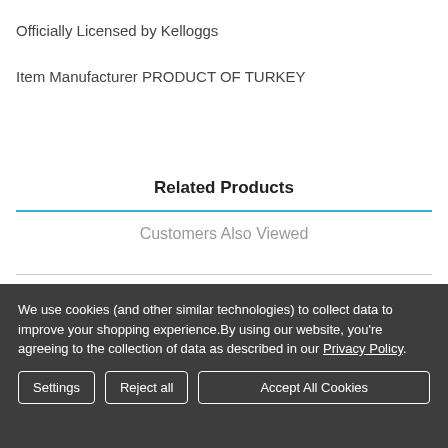Officially Licensed by Kelloggs
Item Manufacturer PRODUCT OF TURKEY
Related Products
Customers Also Viewed
We use cookies (and other similar technologies) to collect data to improve your shopping experience.By using our website, you're agreeing to the collection of data as described in our Privacy Policy.